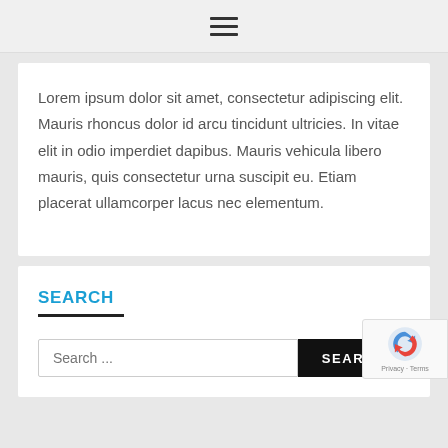≡
Lorem ipsum dolor sit amet, consectetur adipiscing elit. Mauris rhoncus dolor id arcu tincidunt ultricies. In vitae elit in odio imperdiet dapibus. Mauris vehicula libero mauris, quis consectetur urna suscipit eu. Etiam placerat ullamcorper lacus nec elementum.
SEARCH
Search ...